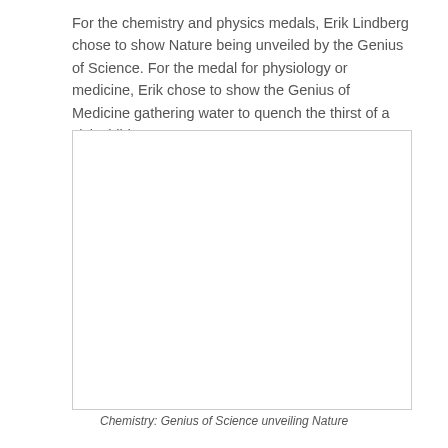For the chemistry and physics medals, Erik Lindberg chose to show Nature being unveiled by the Genius of Science. For the medal for physiology or medicine, Erik chose to show the Genius of Medicine gathering water to quench the thirst of a sick child.
[Figure (photo): A blank/white image placeholder representing a medal or artwork depicting the Genius of Science unveiling Nature (Chemistry medal by Erik Lindberg).]
Chemistry: Genius of Science unveiling Nature